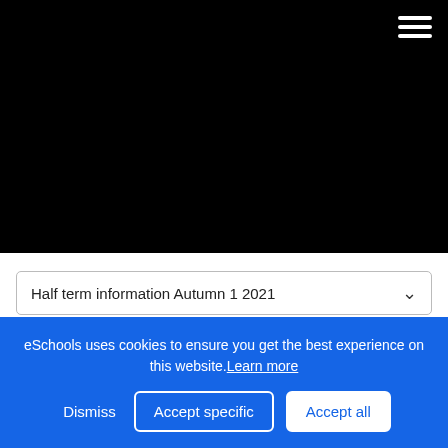[Figure (photo): Black hero image area at top of school website page with hamburger menu icon in top right corner]
Half term information Autumn 1 2021
Half term information Autumn 1 2021
eSchools uses cookies to ensure you get the best experience on this website. Learn more
Dismiss   Accept specific   Accept all